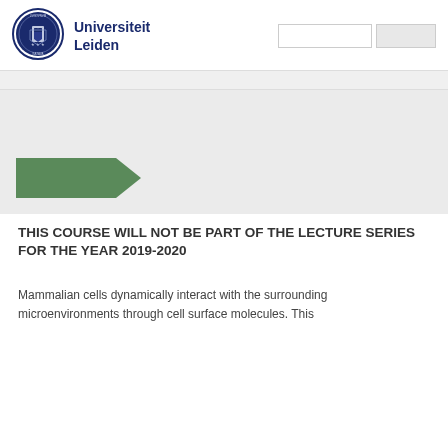[Figure (logo): Universiteit Leiden circular seal/crest logo in navy blue]
Universiteit Leiden
[Figure (screenshot): Search box and search button in the header area]
[Figure (illustration): Green arrow/chevron shape on grey background hero area]
THIS COURSE WILL NOT BE PART OF THE LECTURE SERIES FOR THE YEAR 2019-2020
Mammalian cells dynamically interact with the surrounding microenvironments through cell surface molecules. This